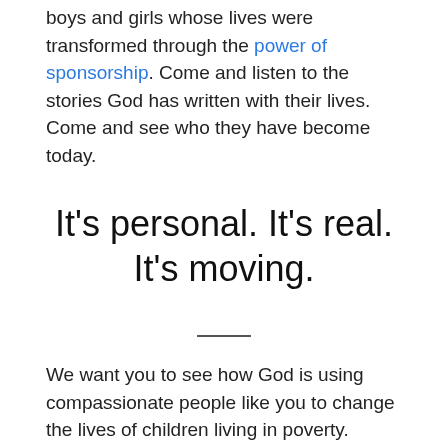boys and girls whose lives were transformed through the power of sponsorship. Come and listen to the stories God has written with their lives. Come and see who they have become today.
It’s personal. It’s real. It’s moving.
We want you to see how God is using compassionate people like you to change the lives of children living in poverty. Because when you sponsor a child, it doesn’t stop there, you also get the opportunity to change the story of a whole family and an entire community too. We invite you to join the movement that’s changing lives